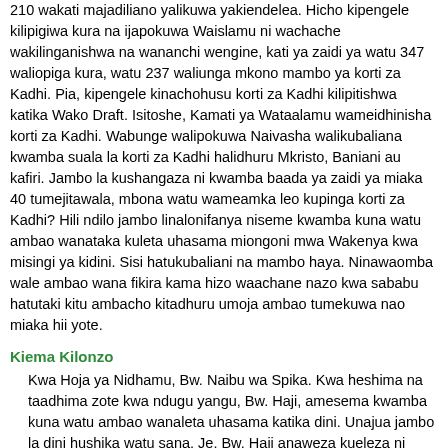210 wakati majadiliano yalikuwa yakiendelea. Hicho kipengele kilipigiwa kura na ijapokuwa Waislamu ni wachache wakilinganishwa na wananchi wengine, kati ya zaidi ya watu 347 waliopiga kura, watu 237 waliunga mkono mambo ya korti za Kadhi. Pia, kipengele kinachohusu korti za Kadhi kilipitishwa katika Wako Draft. Isitoshe, Kamati ya Wataalamu wameidhinisha korti za Kadhi. Wabunge walipokuwa Naivasha walikubaliana kwamba suala la korti za Kadhi halidhuru Mkristo, Baniani au kafiri. Jambo la kushangaza ni kwamba baada ya zaidi ya miaka 40 tumejitawala, mbona watu wameamka leo kupinga korti za Kadhi? Hili ndilo jambo linalonifanya niseme kwamba kuna watu ambao wanataka kuleta uhasama miongoni mwa Wakenya kwa misingi ya kidini. Sisi hatukubaliani na mambo haya. Ninawaomba wale ambao wana fikira kama hizo waachane nazo kwa sababu hatutaki kitu ambacho kitadhuru umoja ambao tumekuwa nao miaka hii yote.
Kiema Kilonzo
Kwa Hoja ya Nidhamu, Bw. Naibu wa Spika. Kwa heshima na taadhima zote kwa ndugu yangu, Bw. Haji, amesema kwamba kuna watu ambao wanaleta uhasama katika dini. Unajua jambo la dini hushika watu sana. Je, Bw. Haji anaweza kueleza ni watu gani wanaleta uhasama? Ikiwa hawapo, basi Bw. Haji akanushe